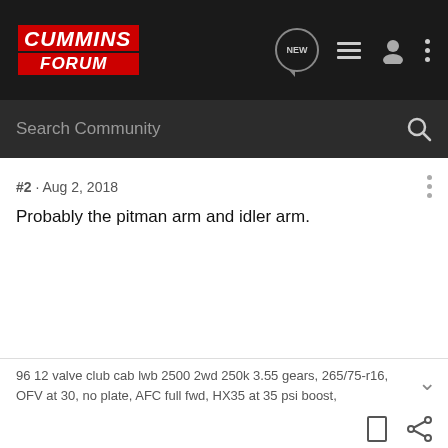[Figure (logo): Cummins Forum logo — red background, white italic bold text]
Search Community
#2 · Aug 2, 2018
Probably the pitman arm and idler arm.
96 12 valve club cab lwb 2500 2wd 250k 3.55 gears, 265/75-r16, OFV at 30, no plate, AFC full fwd, HX35 at 35 psi boost,
bigfish95971 · Registered
[Figure (photo): Toyo Tires advertisement — truck off-road, 'DOMINATION IN THE DIRT.' text, Toyo Tires logo and Learn More button]